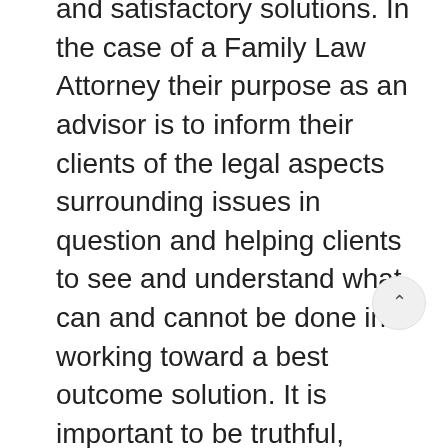and satisfactory solutions. In the case of a Family Law Attorney their purpose as an advisor is to inform their clients of the legal aspects surrounding issues in question and helping clients to see and understand what can and cannot be done in working toward a best outcome solution. It is important to be truthful, especially in not offering false hope as there are so many factors affecting what happens at mediation or in a courtroom. Too, “Always be accessible and responsible to clients”, another of Attorney Gisondo’s Guiding Principles, is so important if a Family Law Attorney is to be the